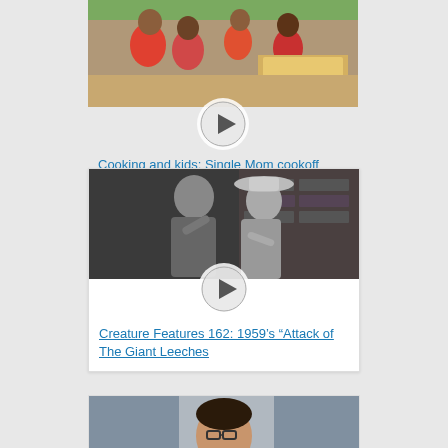[Figure (photo): Video card with thumbnail showing children cooking at a cookoff event, with a play button overlay]
Cooking and kids: Single Mom cookoff
[Figure (photo): Video card with black and white thumbnail showing two people in a scene from 1959 Attack of The Giant Leeches, with a play button overlay]
Creature Features 162: 1959's “Attack of The Giant Leeches
[Figure (photo): Partial thumbnail of a third video card showing a woman with glasses]